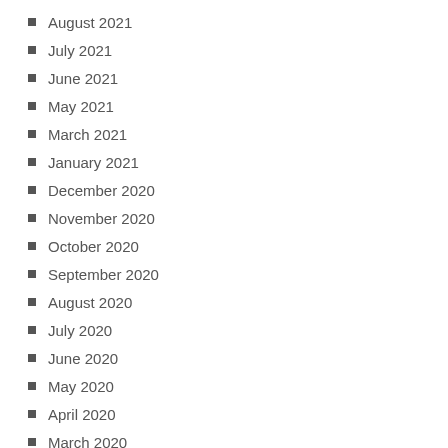August 2021
July 2021
June 2021
May 2021
March 2021
January 2021
December 2020
November 2020
October 2020
September 2020
August 2020
July 2020
June 2020
May 2020
April 2020
March 2020
February 2020
January 2020
December 2019
November 2019